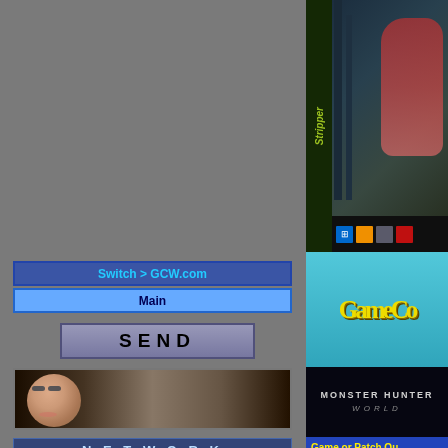[Figure (screenshot): Top banner advertisement showing 'Stripper' game with a female character posing, with taskbar icons visible at bottom]
[Figure (logo): GameCop website logo in yellow stylized text on teal background]
[Figure (screenshot): Monster Hunter World game banner showing logo and character]
Switch > GCW.com
Main
SEND
[Figure (photo): Photo of a woman's face]
N E T W O R K
GameTarget
Console CopyWorld
Cover Target
CD Media World
LinkWorld
Music Target
CD/DVD Utilities
[Figure (logo): LinkWorld CD & DVD logo]
Game or Patch Qu
Dying Light
System : PC
Language : [UK flag]
Protection : STEAM (Digital Download)
CD Cover : Cover Target
Index
Game Fixes:
Dying Light: Platinum Edition v1.46.0 [M16] Fix